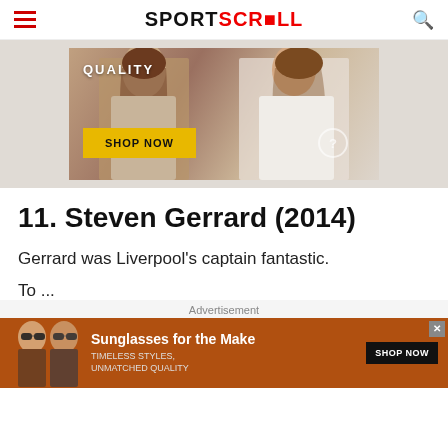SPORTSCROLL
[Figure (photo): Fashion advertisement banner showing two women in stylish clothing with text 'QUALITY' and a yellow 'SHOP NOW' button]
11. Steven Gerrard (2014)
Gerrard was Liverpool's captain fantastic.
Advertisement (partial, cut off)
[Figure (photo): Bottom advertisement for sunglasses showing two women wearing sunglasses with text 'Sunglasses for the Make', 'TIMELESS STYLES, UNMATCHED QUALITY', and 'SHOP NOW' button]